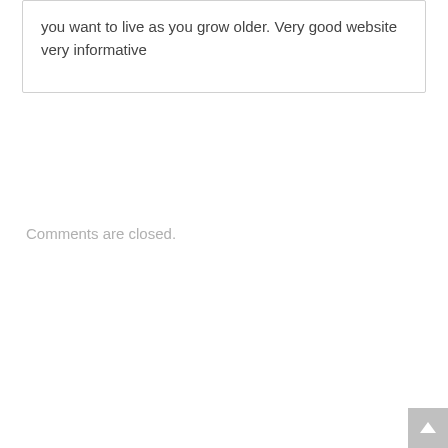you want to live as you grow older. Very good website very informative
Comments are closed.